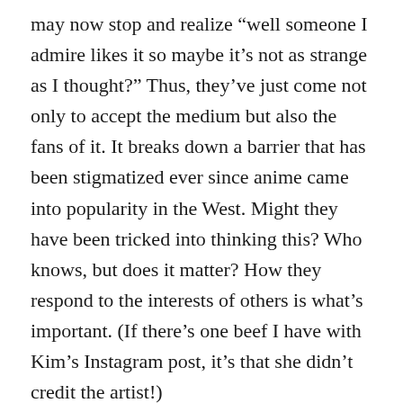may now stop and realize “well someone I admire likes it so maybe it’s not as strange as I thought?” Thus, they’ve just come not only to accept the medium but also the fans of it. It breaks down a barrier that has been stigmatized ever since anime came into popularity in the West. Might they have been tricked into thinking this? Who knows, but does it matter? How they respond to the interests of others is what’s important. (If there’s one beef I have with Kim’s Instagram post, it’s that she didn’t credit the artist!)
Other concerns some hold are that the popularity of anime will lead to the disappearance of the types of series they like and that it’ll be commercialized along the lines of Marvel/DC, Star Wars and the like. Let me